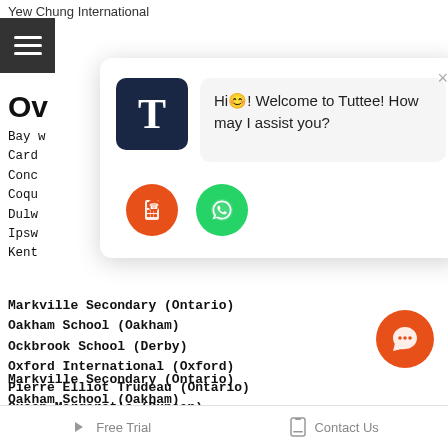Yew Chung International
[Figure (screenshot): Hamburger menu icon (three horizontal white lines on dark background)]
Ov[erview]
Bayw[ater]
Card[iff]
Conc[ord]
Coqu[itlam]
Dulw[ich]
Ipsw[ich]
Kent [...]
Markville Secondary (Ontario)
Oakham School (Oakham)
Ockbrook School (Derby)
Oxford International (Oxford)
Pierre Elliot Trudeau (Ontario)
Queen Margaret's (Duncan)
Richmond Green (Ontario)
Richmond School (Richmond)
Rugby College (Rugby)
[Figure (screenshot): Chat popup widget with Tuttee logo (dark blue T), welcome message 'Hi! Welcome to Tuttee! How may I assist you?', and two circular buttons (orange phone/calculator, green WhatsApp)]
[Figure (screenshot): Floating orange chat button (speech bubble icon) bottom right]
Free Trial   Contact Us